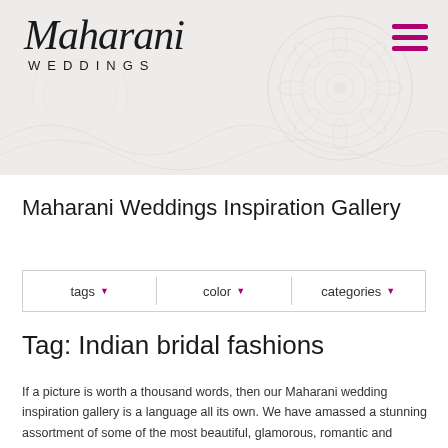[Figure (logo): Maharani Weddings logo with decorative paisley background. Script text 'Maharani' above spaced caps 'WEDDINGS'. Hamburger menu icon top right.]
Maharani Weddings Inspiration Gallery
tags ▼   color ▼   categories ▼
Tag: Indian bridal fashions
If a picture is worth a thousand words, then our Maharani wedding inspiration gallery is a language all its own. We have amassed a stunning assortment of some of the most beautiful, glamorous, romantic and dazzling photos from all over the world. If you need a